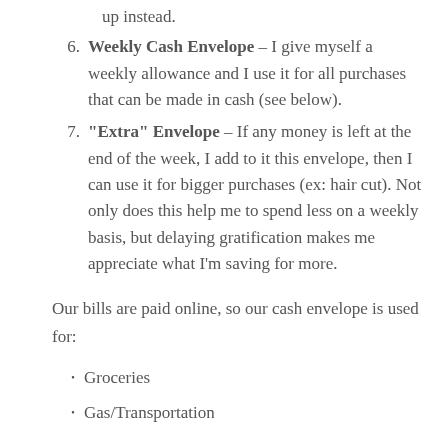up instead.
Weekly Cash Envelope – I give myself a weekly allowance and I use it for all purchases that can be made in cash (see below).
"Extra" Envelope – If any money is left at the end of the week, I add to it this envelope, then I can use it for bigger purchases (ex: hair cut). Not only does this help me to spend less on a weekly basis, but delaying gratification makes me appreciate what I'm saving for more.
Our bills are paid online, so our cash envelope is used for:
Groceries
Gas/Transportation